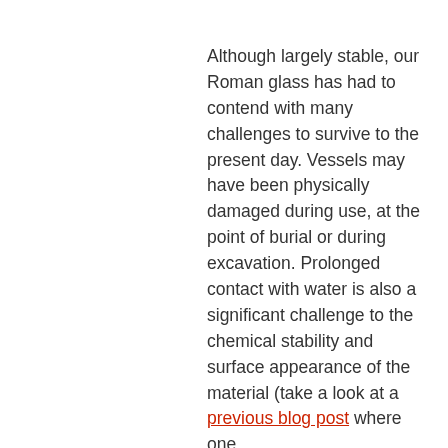Although largely stable, our Roman glass has had to contend with many challenges to survive to the present day. Vessels may have been physically damaged during use, at the point of burial or during excavation. Prolonged contact with water is also a significant challenge to the chemical stability and surface appearance of the material (take a look at a previous blog post where one
We use cookies on our website to give you the most relevant experience by remembering your preferences and repeat visits. By clicking “Accept”, you consent to the use of ALL the cookies. Read More
Cookie settings
ACCEPT